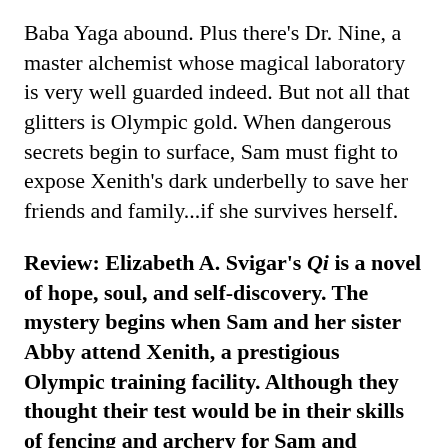Baba Yaga abound. Plus there's Dr. Nine, a master alchemist whose magical laboratory is very well guarded indeed. But not all that glitters is Olympic gold. When dangerous secrets begin to surface, Sam must fight to expose Xenith's dark underbelly to save her friends and family...if she survives herself.
Review: Elizabeth A. Svigar's Qi is a novel of hope, soul, and self-discovery. The mystery begins when Sam and her sister Abby attend Xenith, a prestigious Olympic training facility. Although they thought their test would be in their skills of fencing and archery for Sam and fencing for Abby, the two sisters will be tested in more dangerous and fantastical ways. Sam finds her character, her strengths and weaknesses, and family she didn't know she had. Qi is perfect for lower young adult readers and adults alike. Ms. Svigar wrote a true testament to family and friends through Sam and her friends' adventures. My only critique is that the novel was too short. I wanted to savor